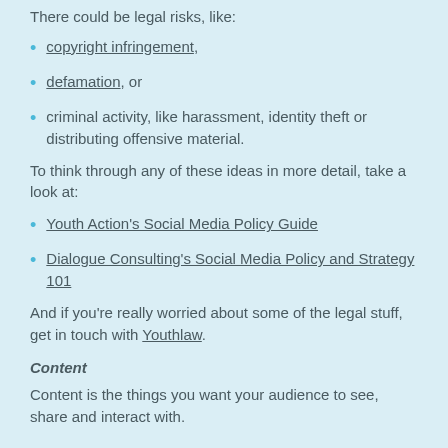There could be legal risks, like:
copyright infringement,
defamation, or
criminal activity, like harassment, identity theft or distributing offensive material.
To think through any of these ideas in more detail, take a look at:
Youth Action’s Social Media Policy Guide
Dialogue Consulting’s Social Media Policy and Strategy 101
And if you’re really worried about some of the legal stuff, get in touch with Youthlaw.
Content
Content is the things you want your audience to see, share and interact with.